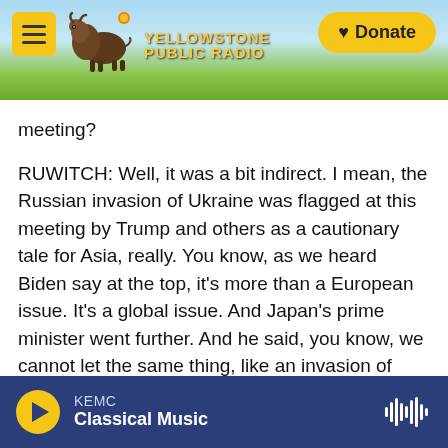Yellowstone Public Radio — Donate
meeting?

RUWITCH: Well, it was a bit indirect. I mean, the Russian invasion of Ukraine was flagged at this meeting by Trump and others as a cautionary tale for Asia, really. You know, as we heard Biden say at the top, it's more than a European issue. It's a global issue. And Japan's prime minister went further. And he said, you know, we cannot let the same thing, like an invasion of Ukraine, happen in the Indo-Pacific. He didn't name names. But, you know, many see parallels between Ukraine and Taiwan, right? Taiwan is a self-governing democracy. But
KEMC — Classical Music